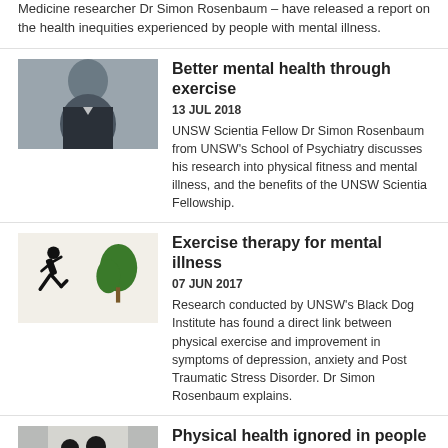Medicine researcher Dr Simon Rosenbaum – have released a report on the health inequities experienced by people with mental illness.
Better mental health through exercise
13 JUL 2018
UNSW Scientia Fellow Dr Simon Rosenbaum from UNSW's School of Psychiatry discusses his research into physical fitness and mental illness, and the benefits of the UNSW Scientia Fellowship.
Exercise therapy for mental illness
07 JUN 2017
Research conducted by UNSW's Black Dog Institute has found a direct link between physical exercise and improvement in symptoms of depression, anxiety and Post Traumatic Stress Disorder. Dr Simon Rosenbaum explains.
Physical health ignored in people with mental illness
19 JAN 2017
It's time we saw past the mental illness in people living with schizophrenia and bipolar disorder to check their physical health too, write Simon Rosenbaum, Katherine Samaras and